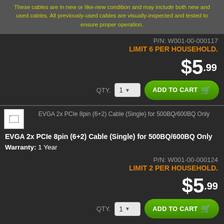These cables are in new or like-new condition and may include both new and used cables. All previously-used cables are visually-inspected and tested to ensure proper operation.
P/N: W001-00-000117
LIMIT 6 PER HOUSEHOLD.
$5.99
QTY. 1  ADD TO CART
[Figure (photo): Thumbnail image placeholder for EVGA 2x PCIe 8pin (6+2) Cable (Single) for 500BQ/600BQ Only]
EVGA 2x PCIe 8pin (6+2) Cable (Single) for 500BQ/600BQ Only
EVGA 2x PCIe 8pin (6+2) Cable (Single) for 500BQ/600BQ Only
Warranty: 1 Year
P/N: W001-00-000124
LIMIT 2 PER HOUSEHOLD.
$5.99
QTY. 1  ADD TO CART